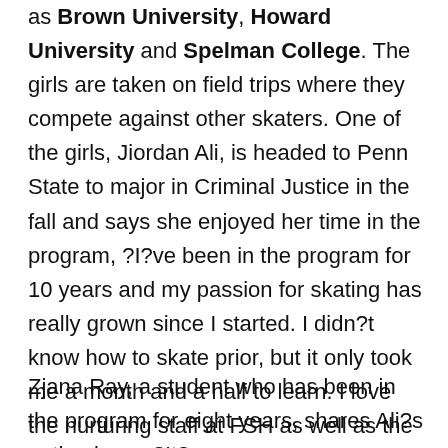as Brown University, Howard University and Spelman College. The girls are taken on field trips where they compete against other skaters. One of the girls, Jiordan Ali, is headed to Penn State to major in Criminal Justice in the fall and says she enjoyed her time in the program, ?I?ve been in the program for 10 years and my passion for skating has really grown since I started. I didn?t know how to skate prior, but it only took me a month and a half to learn. I love the nurturing staff at FSH as well as the internships and the mentoring opportunities. On a field trip, we got to meet Supreme Court Justice Sonia Sotomayor!?
Zjana Ray, a student who has been in the program for eight years, shares Ali?s enthusiasm. ?It?s a